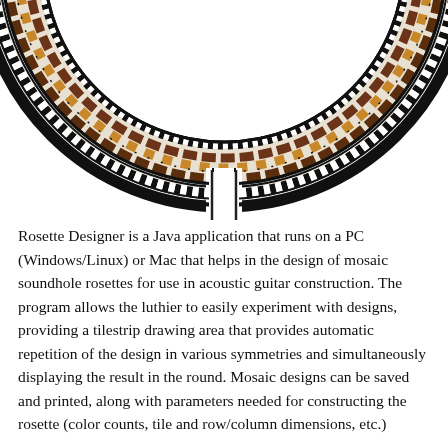[Figure (illustration): A circular mosaic rosette design (as seen on an acoustic guitar soundhole) shown from the top, cut off at the top so only the lower arc is fully visible. The ring features decorative geometric patterns with triangular shapes in brown, tan/gold, and black-and-white zigzag motifs, arranged symmetrically around the ring. The center of the ring is white/empty. The bottom of the ring has a gap at the center bottom.]
Rosette Designer is a Java application that runs on a PC (Windows/Linux) or Mac that helps in the design of mosaic soundhole rosettes for use in acoustic guitar construction. The program allows the luthier to easily experiment with designs, providing a tilestrip drawing area that provides automatic repetition of the design in various symmetries and simultaneously displaying the result in the round. Mosaic designs can be saved and printed, along with parameters needed for constructing the rosette (color counts, tile and row/column dimensions, etc.)